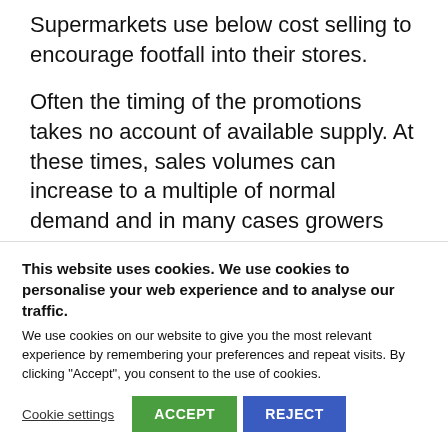Supermarkets use below cost selling to encourage footfall into their stores.
Often the timing of the promotions takes no account of available supply. At these times, sales volumes can increase to a multiple of normal demand and in many cases growers cannot meet the orders and sales are lost to imported produce.
This website uses cookies. We use cookies to personalise your web experience and to analyse our traffic. We use cookies on our website to give you the most relevant experience by remembering your preferences and repeat visits. By clicking "Accept", you consent to the use of cookies.
Cookie settings | ACCEPT | REJECT